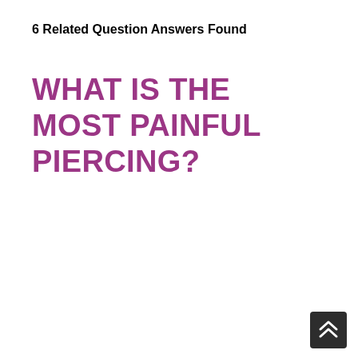6 Related Question Answers Found
WHAT IS THE MOST PAINFUL PIERCING?
[Figure (other): Scroll-to-top button: dark rounded square with double upward chevron arrow icon in white, positioned at bottom-right corner of page.]